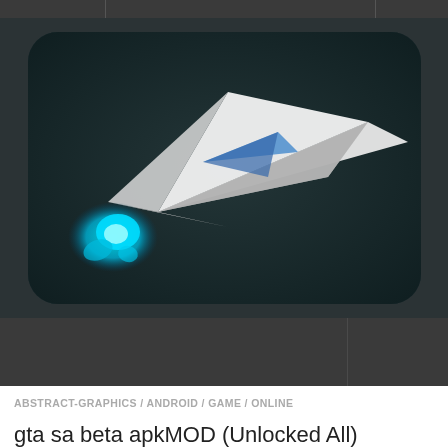[Figure (screenshot): Website header banner with dark grey background showing navigation tabs]
[Figure (illustration): Paper airplane with glowing blue flame engine on dark teal rounded-rectangle background]
ABSTRACT-GRAPHICS / ANDROID / GAME / ONLINE
gta sa beta apk​MOD (Unlocked All) v7.0.1​
[Figure (illustration): Game character illustration - robot/iron man figure on red radial background]